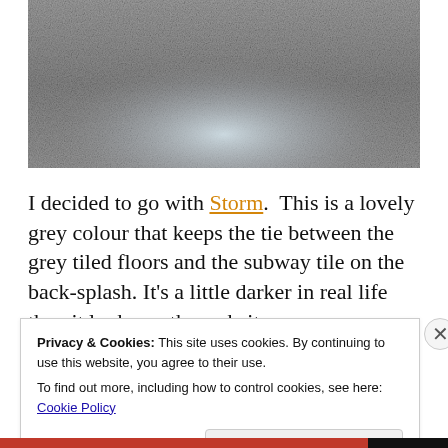[Figure (photo): Close-up photo of grey woven fabric or tile texture with a lighter sheen in the lower-center area]
I decided to go with Storm.  This is a lovely grey colour that keeps the tie between the grey tiled floors and the subway tile on the back-splash. It's a little darker in real life than it looks on the website
Privacy & Cookies: This site uses cookies. By continuing to use this website, you agree to their use.
To find out more, including how to control cookies, see here: Cookie Policy